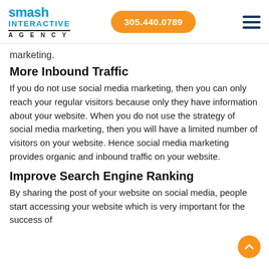smash INTERACTIVE AGENCY | 305.440.0789
marketing.
More Inbound Traffic
If you do not use social media marketing, then you can only reach your regular visitors because only they have information about your website. When you do not use the strategy of social media marketing, then you will have a limited number of visitors on your website. Hence social media marketing provides organic and inbound traffic on your website.
Improve Search Engine Ranking
By sharing the post of your website on social media, people start accessing your website which is very important for the success of